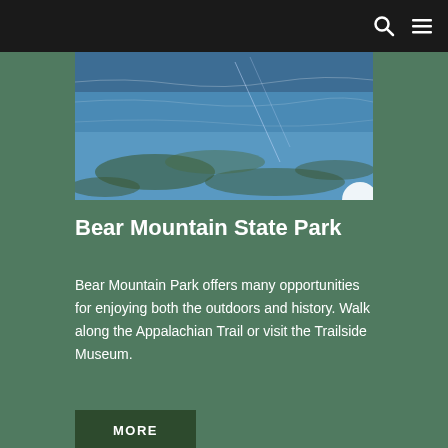[Figure (photo): Aerial or overhead view of a body of water showing blue-green water with underwater terrain visible through the surface.]
Bear Mountain State Park
Bear Mountain Park offers many opportunities for enjoying both the outdoors and history. Walk along the Appalachian Trail or visit the Trailside Museum.
MORE